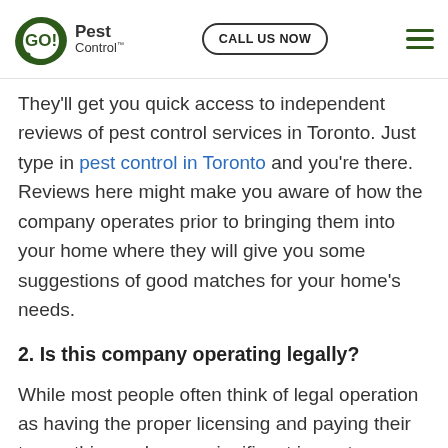GO! Pest Control — CALL US NOW
They'll get you quick access to independent reviews of pest control services in Toronto. Just type in pest control in Toronto and you're there. Reviews here might make you aware of how the company operates prior to bringing them into your home where they will give you some suggestions of good matches for your home's needs.
2. Is this company operating legally?
While most people often think of legal operation as having the proper licensing and paying their taxes, this can have a significant impact on you and your home.